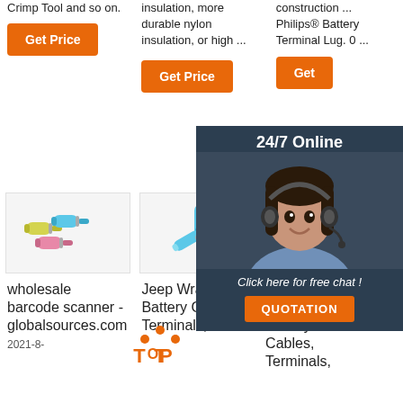Crimp Tool and so on.
insulation, more durable nylon insulation, or high ...
construction ... Philips® Battery Terminal Lug. 0 ...
Get Price
Get
Get Price
[Figure (photo): Colorful butt wire connectors in yellow, blue, and pink]
[Figure (photo): Blue butt wire connectors arranged in V shape]
[Figure (photo): Single light blue butt connector]
[Figure (photo): Chat overlay with agent photo, 24/7 Online header, Click here for free chat text, and QUOTATION button]
wholesale barcode scanner - globalsources.com
Jeep Wrangler Battery Cables, Terminals,
Dodge Ram Battery Cables, Terminals,
2021-8-